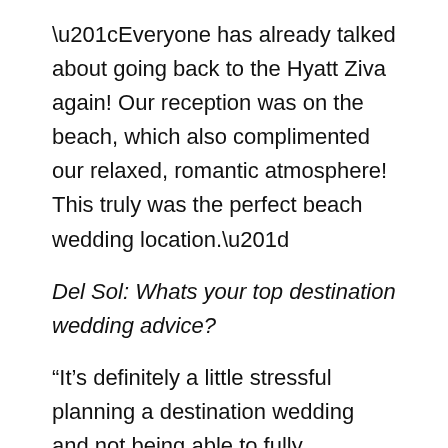“Everyone has already talked about going back to the Hyatt Ziva again! Our reception was on the beach, which also complimented our relaxed, romantic atmosphere! This truly was the perfect beach wedding location.”
Del Sol: Whats your top destination wedding advice?
“It’s definitely a little stressful planning a destination wedding and not being able to fully communicate what you want at times or being there to see it. The biggest thing I learned is just trusting them! They have so many weddings everyday, and they truly know what they are doing! Everything worked out perfectly and there